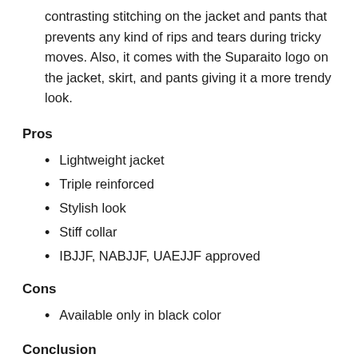contrasting stitching on the jacket and pants that prevents any kind of rips and tears during tricky moves. Also, it comes with the Suparaito logo on the jacket, skirt, and pants giving it a more trendy look.
Pros
Lightweight jacket
Triple reinforced
Stylish look
Stiff collar
IBJJF, NABJJF, UAEJJF approved
Cons
Available only in black color
Conclusion